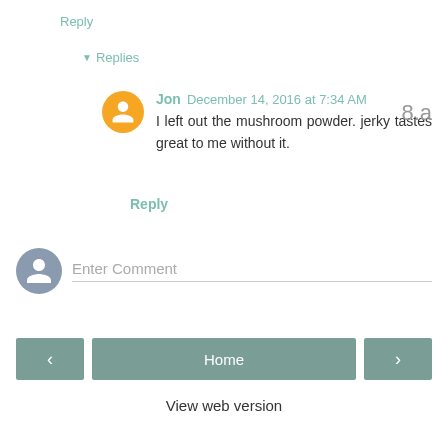Reply
▾ Replies
Jon December 14, 2016 at 7:34 AM
I left out the mushroom powder. jerky tastes great to me without it.
8.a
Reply
Enter Comment
Home
View web version